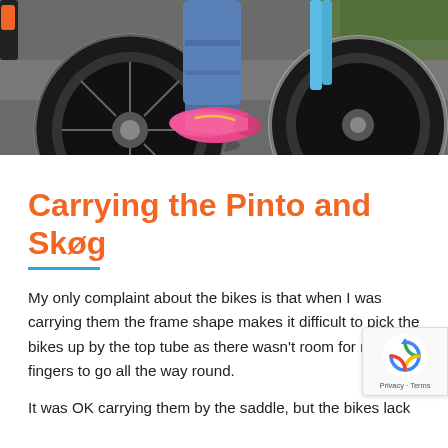[Figure (photo): Photo of a child's feet in pink sneakers and blue jeans standing next to a bicycle on asphalt, showing the wheels and front fork of the bike.]
Carrying the Pinto and Skøg
My only complaint about the bikes is that when I was carrying them the frame shape makes it difficult to pick the bikes up by the top tube as there wasn't room for my fingers to go all the way round.
It was OK carrying them by the saddle, but the bikes lack